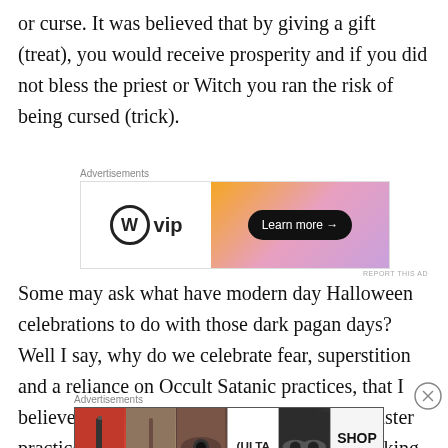or curse. It was believed that by giving a gift (treat), you would receive prosperity and if you did not bless the priest or Witch you ran the risk of being cursed (trick).
[Figure (other): WordPress VIP advertisement banner with orange/pink gradient and 'Learn more' button]
Some may ask what have modern day Halloween celebrations to do with those dark pagan days? Well I say, why do we celebrate fear, superstition and a reliance on Occult Satanic practices, that I believe can be an open door to even more sinister practices, to the enquiring mind and those seeking answers from all the wrong areas.
[Figure (other): ULTA beauty advertisement banner with makeup/cosmetic images and SHOP NOW button]